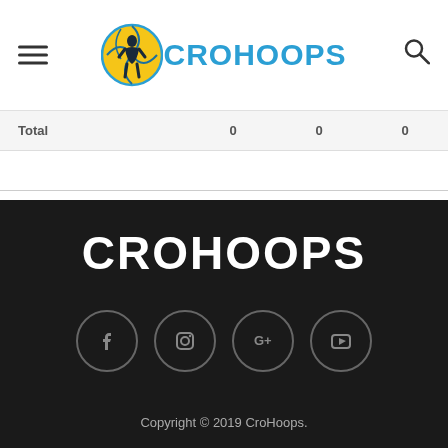CroHoops
| Total |  | 0 | 0 | 0 |
| --- | --- | --- | --- | --- |
[Figure (logo): CROHOOPS text logo in white bold uppercase letters on dark background]
[Figure (infographic): Social media icons: Facebook, Instagram, Google+, YouTube — circular outlined icons in gray]
Copyright © 2019 CroHoops.